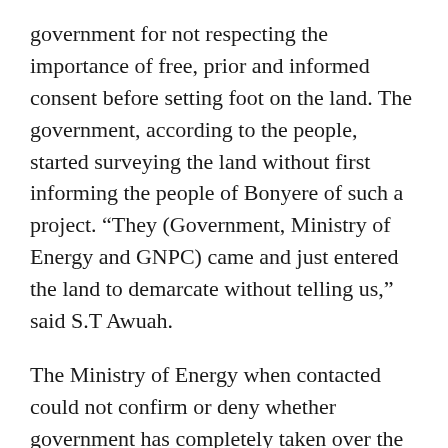government for not respecting the importance of free, prior and informed consent before setting foot on the land. The government, according to the people, started surveying the land without first informing the people of Bonyere of such a project. “They (Government, Ministry of Energy and GNPC) came and just entered the land to demarcate without telling us,” said S.T Awuah.
The Ministry of Energy when contacted could not confirm or deny whether government has completely taken over the land for the gas processing facility. In a telephone interview in June 2011, the Public Relations Officer of the Ministry of Energy, Mr. Kodua Edjekumhene, said “[truncated at page break]”